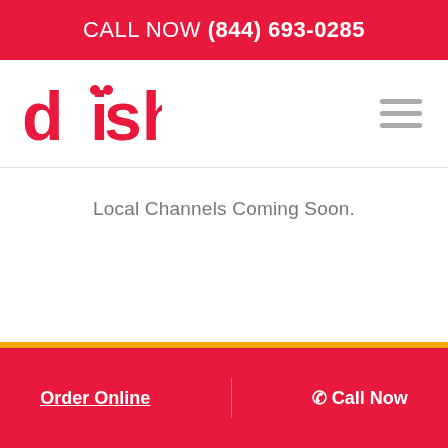CALL NOW (844) 693-0285
[Figure (logo): DISH Network logo in red]
Local Channels Coming Soon.
Order Online   ✓ Call Now